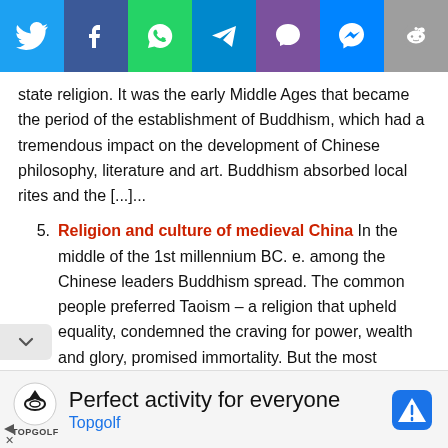[Figure (infographic): Social media share bar with Twitter, Facebook, WhatsApp, Telegram, Viber, Messenger, Reddit icons]
state religion. It was the early Middle Ages that became the period of the establishment of Buddhism, which had a tremendous impact on the development of Chinese philosophy, literature and art. Buddhism absorbed local rites and the [...]...
5. Religion and culture of medieval China In the middle of the 1st millennium BC. e. among the Chinese leaders Buddhism spread. The common people preferred Taoism – a religion that upheld equality, condemned the craving for power, wealth and glory, promised immortality. But the most influential in the country was Confucianism, which
[Figure (infographic): Topgolf advertisement banner: 'Perfect activity for everyone' with Topgolf logo and navigation icon]